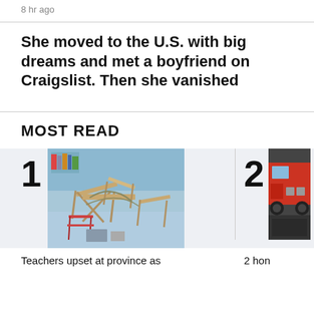8 hr ago
She moved to the U.S. with big dreams and met a boyfriend on Craigslist. Then she vanished
MOST READ
[Figure (photo): Classroom with overturned desks and chairs tied together with rope]
[Figure (photo): Partial image of what appears to be a fire truck or emergency vehicle]
Teachers upset at province as
2 hon